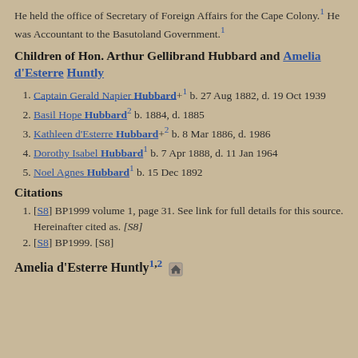He held the office of Secretary of Foreign Affairs for the Cape Colony.1 He was Accountant to the Basutoland Government.1
Children of Hon. Arthur Gellibrand Hubbard and Amelia d'Esterre Huntly
Captain Gerald Napier Hubbard+1 b. 27 Aug 1882, d. 19 Oct 1939
Basil Hope Hubbard2 b. 1884, d. 1885
Kathleen d'Esterre Hubbard+2 b. 8 Mar 1886, d. 1986
Dorothy Isabel Hubbard1 b. 7 Apr 1888, d. 11 Jan 1964
Noel Agnes Hubbard1 b. 15 Dec 1892
Citations
[S8] BP1999 volume 1, page 31. See link for full details for this source. Hereinafter cited as. [S8]
[S8] BP1999. [S8]
Amelia d'Esterre Huntly1,2